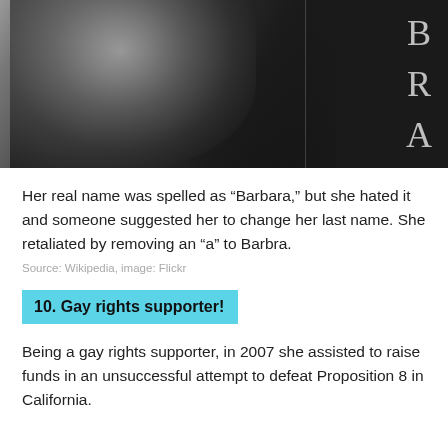[Figure (photo): Black and white portrait photograph of a woman with curly hair, partially visible. On the right side, large letters B, R, A are visible in a serif font against a dark background.]
Her real name was spelled as “Barbara,” but she hated it and someone suggested her to change her last name. She retaliated by removing an “a” to Barbra.
Source: Wikipedia, image: Flickr
10. Gay rights supporter!
Being a gay rights supporter, in 2007 she assisted to raise funds in an unsuccessful attempt to defeat Proposition 8 in California.